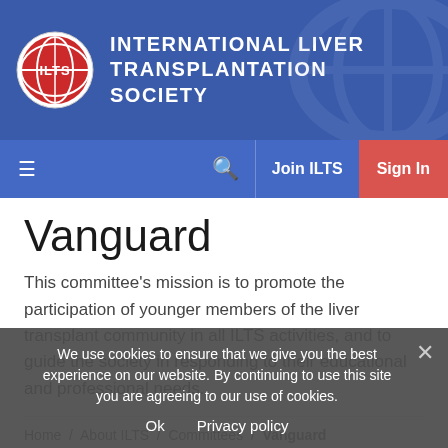[Figure (logo): ILTS globe logo — red circle with globe graphic and ILTS text]
INTERNATIONAL LIVER TRANSPLANTATION SOCIETY
Navigation bar with hamburger menu, search icon, Join ILTS button, and Sign In button
Vanguard
This committee's mission is to promote the participation of younger members of the liver transplant community in all ILTS activities, and to guide the society in responding to their educational and professional needs.
Home / About ILTS / Committees / Vanguard
Key aims:
To promote the engagement of younger liver transplant professionals and trainees in all ILTS activities, and to advocate on their behalf.
We use cookies to ensure that we give you the best experience on our website. By continuing to use this site you are agreeing to our use of cookies.